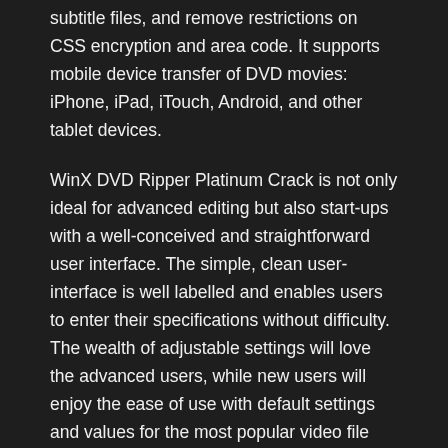subtitle files, and remove restrictions on CSS encryption and area code. It supports mobile device transfer of DVD movies: iPhone, iPad, iTouch, Android, and other tablet devices.
WinX DVD Ripper Platinum Crack is not only ideal for advanced editing but also start-ups with a well-conceived and straightforward user interface. The simple, clean user-interface is well labelled and enables users to enter their specifications without difficulty. The wealth of adjustable settings will love the advanced users, while new users will enjoy the ease of use with default settings and values for the most popular video file types such as AVI and MP4. Finally, while the user experience has been positive, it has passed fast as this tool is fast and efficient.
WinX DVD Ripper Platinum